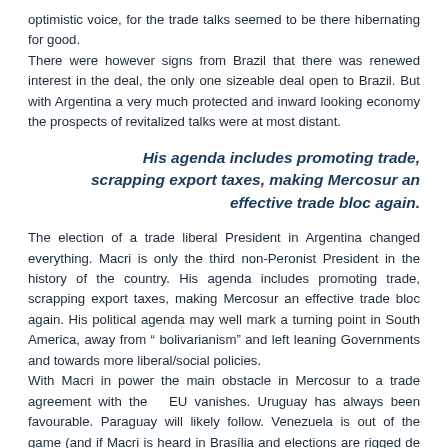optimistic voice, for the trade talks seemed to be there hibernating for good.
There were however signs from Brazil that there was renewed interest in the deal, the only one sizeable deal open to Brazil. But with Argentina a very much protected and inward looking economy the prospects of revitalized talks were at most distant.
His agenda includes promoting trade, scrapping export taxes, making Mercosur an effective trade bloc again.
The election of a trade liberal President in Argentina changed everything. Macri is only the third non-Peronist President in the history of the country. His agenda includes promoting trade, scrapping export taxes, making Mercosur an effective trade bloc again. His political agenda may well mark a turning point in South America, away from “ bolivarianism” and left leaning Governments and towards more liberal/social policies.
With Macri in power the main obstacle in Mercosur to a trade agreement with the  EU vanishes. Uruguay has always been favourable. Paraguay will likely follow. Venezuela is out of the game (and if Macri is heard in Brasília and elections are rigged de facto out of Mercosur as well).
Brazil is now more amenable to negotiating than in the past decade. Brazil’s economy is in dire straits, in need of new markets